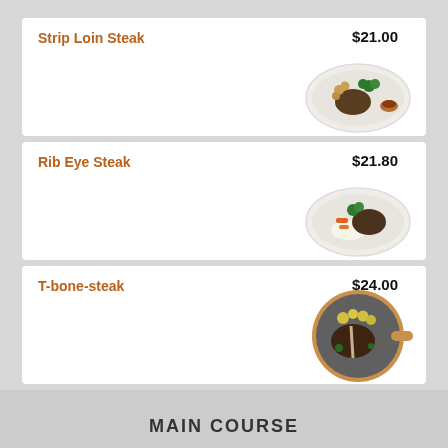Strip Loin Steak  $21.00
[Figure (photo): A white oval plate with strip loin steak, roasted potatoes, broccoli, and a dipping sauce on the side]
Rib Eye Steak  $21.80
[Figure (photo): A white oval plate with rib eye steak served with broccoli, carrots, and white rice]
T-bone-steak  $24.00
[Figure (photo): A round wooden/slate board with a T-bone steak topped with potato chunks and herbs]
MAIN COURSE